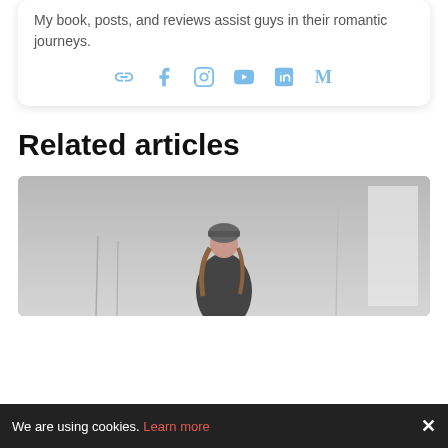My book, posts, and reviews assist guys in their romantic journeys.
[Figure (other): Social media icons: link, Facebook, Instagram, YouTube, LinkedIn, Medium]
Related articles
[Figure (photo): A young woman wearing a beanie hat standing outdoors in a foggy/grey setting]
We are using cookies. Learn more